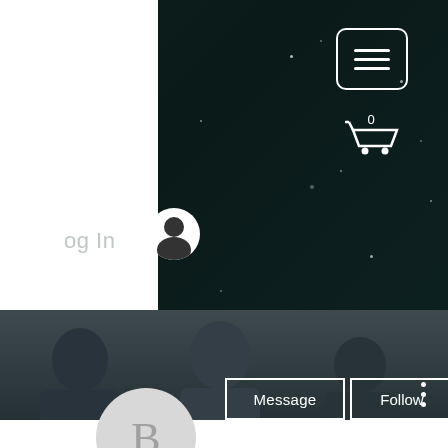[Figure (screenshot): Website screenshot showing a dark teal starfield header with a hamburger menu button (three horizontal lines in a rounded rectangle), a shopping cart icon with '0', a Log In label with a user/person circle icon, a profile banner with a photo of people and overlay buttons for Message, Follow, and a vertical dots menu, a circular avatar with the letter B, the profile name 'Bitstarz affiliates', and '0 Followers • 0 Following' stats, along with a dark circular more-options button with three dots.]